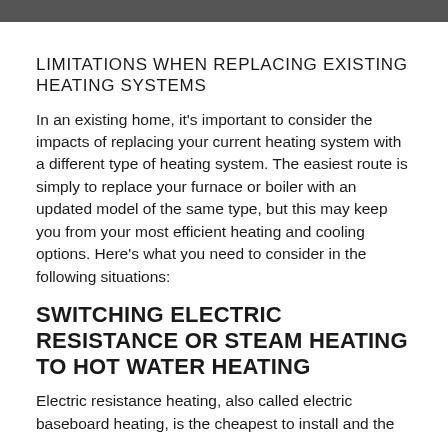LIMITATIONS WHEN REPLACING EXISTING HEATING SYSTEMS
In an existing home, it's important to consider the impacts of replacing your current heating system with a different type of heating system. The easiest route is simply to replace your furnace or boiler with an updated model of the same type, but this may keep you from your most efficient heating and cooling options. Here's what you need to consider in the following situations:
SWITCHING ELECTRIC RESISTANCE OR STEAM HEATING TO HOT WATER HEATING
Electric resistance heating, also called electric baseboard heating, is the cheapest to install and the